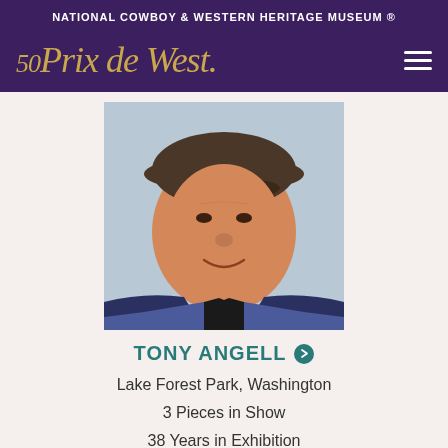NATIONAL COWBOY & WESTERN HERITAGE MUSEUM ®
50 Prix de West
[Figure (photo): Portrait photo of Tony Angell, an older man wearing a flat cap and plaid shirt, smiling at the camera]
TONY ANGELL
Lake Forest Park, Washington
3 Pieces in Show
38 Years in Exhibition